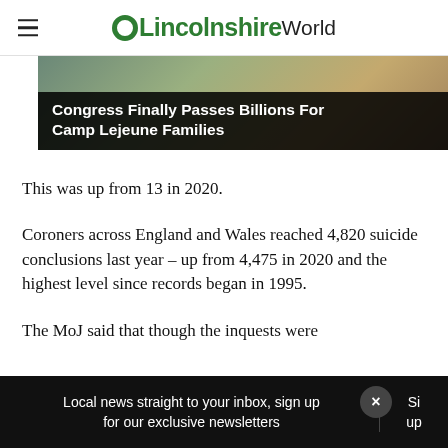OLincolnshireWorld
[Figure (photo): Advertisement banner image with text overlay: Congress Finally Passes Billions For Camp Lejeune Families]
This was up from 13 in 2020.
Coroners across England and Wales reached 4,820 suicide conclusions last year – up from 4,475 in 2020 and the highest level since records began in 1995.
The MoJ said that though the inquests were
Local news straight to your inbox, sign up for our exclusive newsletters  Sign up